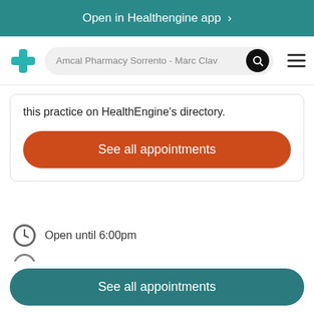Open in Healthengine app >
[Figure (screenshot): HealthEngine app navigation bar with teal cross logo, search bar showing 'Amcal Pharmacy Sorrento - Marc Clav', search icon button, and hamburger menu]
this practice on HealthEngine's directory.
See all appointments
Open until 6:00pm
See all appointments